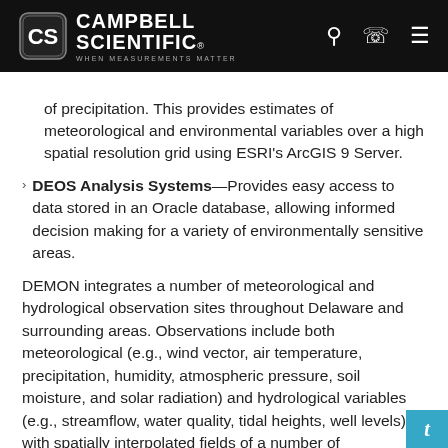Campbell Scientific — WHEN MEASUREMENTS MATTER
of precipitation. This provides estimates of meteorological and environmental variables over a high spatial resolution grid using ESRI's ArcGIS 9 Server.
DEOS Analysis Systems—Provides easy access to data stored in an Oracle database, allowing informed decision making for a variety of environmentally sensitive areas.
DEMON integrates a number of meteorological and hydrological observation sites throughout Delaware and surrounding areas. Observations include both meteorological (e.g., wind vector, air temperature, precipitation, humidity, atmospheric pressure, soil moisture, and solar radiation) and hydrological variables (e.g., streamflow, water quality, tidal heights, well levels) with spatially interpolated fields of a number of